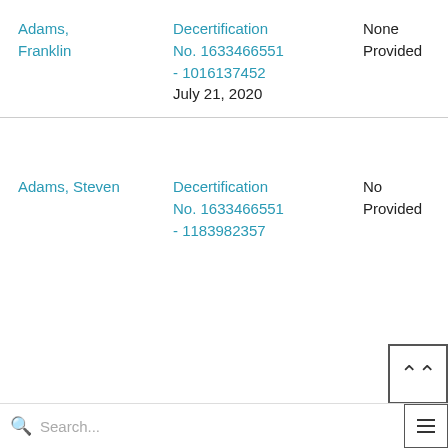| Name | Case/Number | Status |
| --- | --- | --- |
| Adams, Franklin | Decertification No. 1633466551 - 1016137452
July 21, 2020 | None Provided |
| Adams, Steven | Decertification No. 1633466551 - 1183982357 | None Provided |